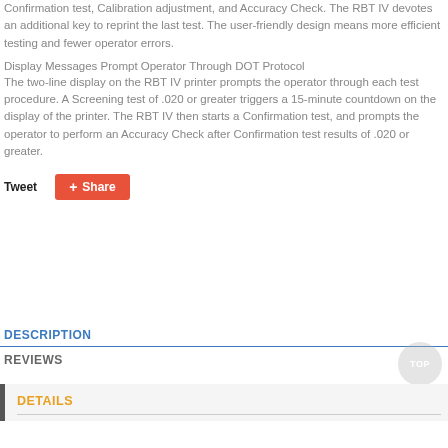Confirmation test, Calibration adjustment, and Accuracy Check. The RBT IV devotes an additional key to reprint the last test. The user-friendly design means more efficient testing and fewer operator errors.
Display Messages Prompt Operator Through DOT Protocol
The two-line display on the RBT IV printer prompts the operator through each test procedure. A Screening test of .020 or greater triggers a 15-minute countdown on the display of the printer. The RBT IV then starts a Confirmation test, and prompts the operator to perform an Accuracy Check after Confirmation test results of .020 or greater.
Tweet  Share
DESCRIPTION
REVIEWS
DETAILS